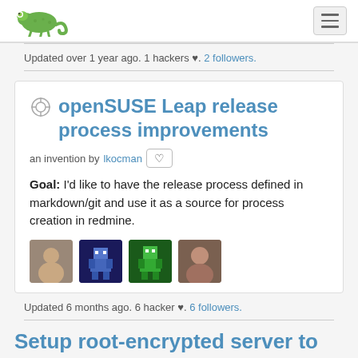openSUSE logo and navigation menu
Updated over 1 year ago. 1 hackers ♥. 2 followers.
openSUSE Leap release process improvements
an invention by lkocman
Goal: I'd like to have the release process defined in markdown/git and use it as a source for process creation in redmine.
[Figure (photo): Four user avatar images displayed in a row inside a card]
Updated 6 months ago. 6 hacker ♥. 6 followers.
Setup root-encrypted server to